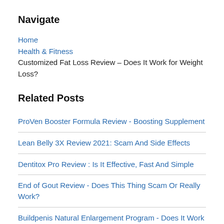Navigate
Home
Health & Fitness
Customized Fat Loss Review – Does It Work for Weight Loss?
Related Posts
ProVen Booster Formula Review - Boosting Supplement
Lean Belly 3X Review 2021: Scam And Side Effects
Dentitox Pro Review : Is It Effective, Fast And Simple
End of Gout Review - Does This Thing Scam Or Really Work?
Buildpenis Natural Enlargement Program - Does It Work Naturally?